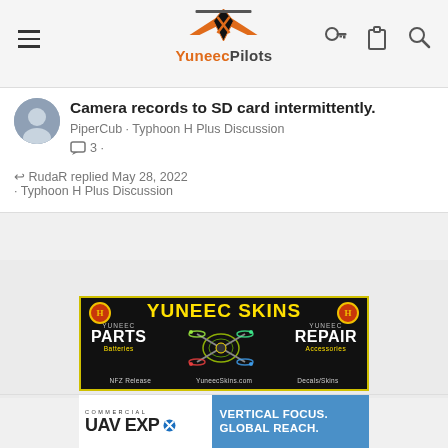YuneecPilots
Camera records to SD card intermittently.
PiperCub · Typhoon H Plus Discussion
3 ·
RudaR replied May 28, 2022 · Typhoon H Plus Discussion
[Figure (illustration): Yuneec Skins advertisement banner: black background with yellow border. Text: YUNEEC SKINS, YUNEEC PARTS (Batteries), YUNEEC REPAIR (Accessories), NFZ Release, YuneecSkins.com, Decals/Skins. Drone graphic with neon lighting in center.]
[Figure (illustration): Commercial UAV Expo advertisement: left side white with text COMMERCIAL UAV EXPO, right side blue with text VERTICAL FOCUS. GLOBAL REACH.]